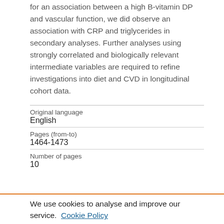for an association between a high B-vitamin DP and vascular function, we did observe an association with CRP and triglycerides in secondary analyses. Further analyses using strongly correlated and biologically relevant intermediate variables are required to refine investigations into diet and CVD in longitudinal cohort data.
| Original language | English |
| Pages (from-to) | 1464-1473 |
| Number of pages | 10 |
We use cookies to analyse and improve our service. Cookie Policy